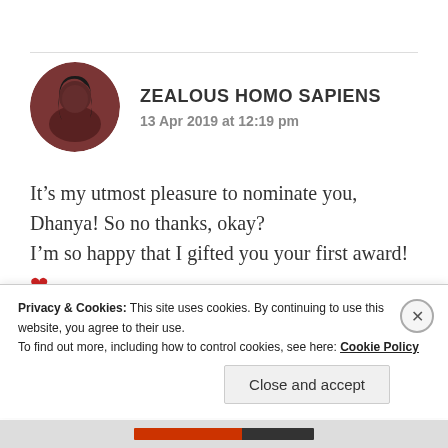[Figure (photo): Circular avatar photo of a person with dark hair]
ZEALOUS HOMO SAPIENS
13 Apr 2019 at 12:19 pm
It’s my utmost pleasure to nominate you, Dhanya! So no thanks, okay?
I’m so happy that I gifted you your first award!
❤
Same goes for you, keep wielding your pen and keep inspiring others!❤
Privacy & Cookies: This site uses cookies. By continuing to use this website, you agree to their use.
To find out more, including how to control cookies, see here: Cookie Policy
Close and accept